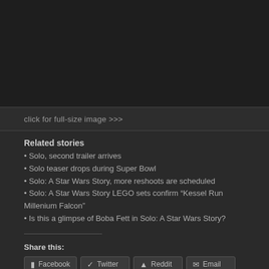[Figure (photo): Dark image area at top of page, appearing mostly black/very dark]
click for full-size image >>>
Related stories
Solo, second trailer arrives
Solo teaser drops during Super Bowl
Solo: A Star Wars Story, more reshoots are scheduled
Solo: A Star Wars Story LEGO sets confirm “Kessel Run Millenium Falcon”
Is this a glimpse of Boba Fett in Solo: A Star Wars Story?
Share this:
Facebook  Twitter  Reddit  Email